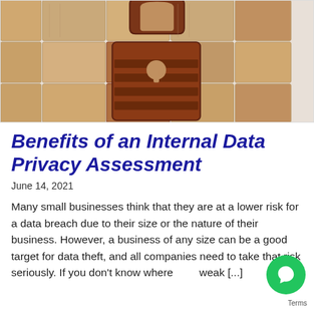[Figure (photo): Wooden puzzle blocks arranged to form a padlock/security lock symbol, suggesting data privacy and security]
Benefits of an Internal Data Privacy Assessment
June 14, 2021
Many small businesses think that they are at a lower risk for a data breach due to their size or the nature of their business. However, a business of any size can be a good target for data theft, and all companies need to take that risk seriously. If you don't know where [you are] weak [...]